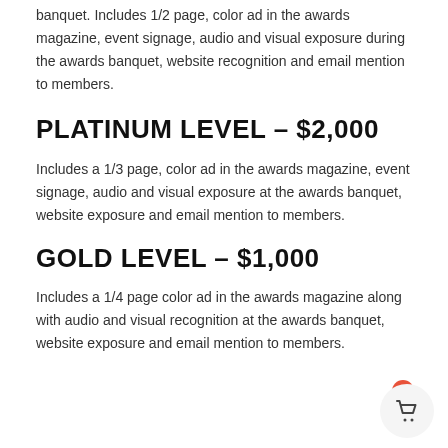banquet. Includes 1/2 page, color ad in the awards magazine, event signage, audio and visual exposure during the awards banquet, website recognition and email mention to members.
PLATINUM LEVEL – $2,000
Includes a 1/3 page, color ad in the awards magazine, event signage, audio and visual exposure at the awards banquet, website exposure and email mention to members.
GOLD LEVEL – $1,000
Includes a 1/4 page color ad in the awards magazine along with audio and visual recognition at the awards banquet, website exposure and email mention to members.